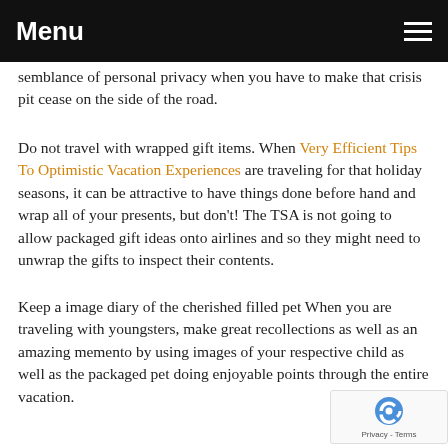Menu
semblance of personal privacy when you have to make that crisis pit cease on the side of the road.
Do not travel with wrapped gift items. When Very Efficient Tips To Optimistic Vacation Experiences are traveling for that holiday seasons, it can be attractive to have things done before hand and wrap all of your presents, but don't! The TSA is not going to allow packaged gift ideas onto airlines and so they might need to unwrap the gifts to inspect their contents.
Keep a image diary of the cherished filled pet When you are traveling with youngsters, make great recollections as well as an amazing memento by using images of your respective child as well as the packaged pet doing enjoyable points through the entire vacation.